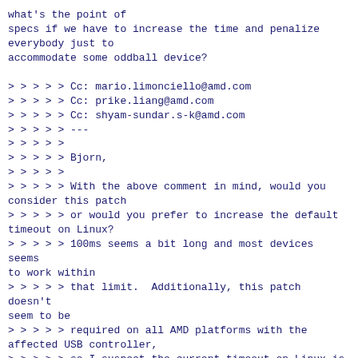what's the point of
specs if we have to increase the time and penalize
everybody just to
accommodate some oddball device?

> > > > > Cc: mario.limonciello@amd.com
> > > > > Cc: prike.liang@amd.com
> > > > > Cc: shyam-sundar.s-k@amd.com
> > > > > ---
> > > > >
> > > > > Bjorn,
> > > > >
> > > > > With the above comment in mind, would you consider this patch
> > > > > or would you prefer to increase the default timeout on Linux?
> > > > > 100ms seems a bit long and most devices seems to work within
> > > > > that limit.  Additionally, this patch doesn't seem to be
> > > > > required on all AMD platforms with the affected USB controller,
> > > > > so I suspect the current timeout on Linux is probably about
> > > > > right.  Increasing it seems to fix some of the marginal cases.
> > > > >
> > > > > Alex
> > > > >
> > > > >    drivers/pci/quirks.c | 1 +